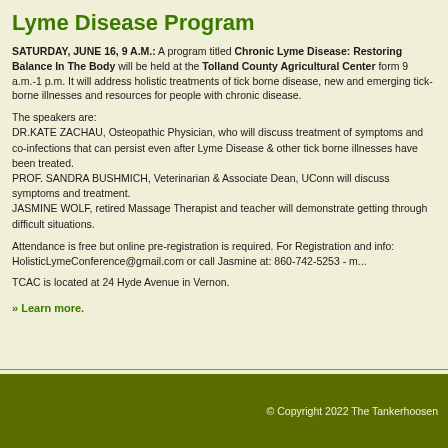Lyme Disease Program
SATURDAY, JUNE 16, 9 A.M.: A program titled Chronic Lyme Disease: Restoring Balance In The Body will be held at the Tolland County Agricultural Center form 9 a.m.-1 p.m. It will address holistic treatments of tick borne disease, new and emerging tick-borne illnesses and resources for people with chronic disease.
The speakers are:
DR.KATE ZACHAU, Osteopathic Physician, who will discuss treatment of symptoms and co-infections that can persist even after Lyme Disease & other tick borne illnesses have been treated.
PROF. SANDRA BUSHMICH, Veterinarian & Associate Dean, UConn will discuss symptoms and treatment.
JASMINE WOLF, retired Massage Therapist and teacher will demonstrate getting through difficult situations.
Attendance is free but online pre-registration is required. For Registration and info: HolisticLymeConference@gmail.com or call Jasmine at: 860-742-5253 - m...
TCAC is located at 24 Hyde Avenue in Vernon.
» Learn more.
© Copyright 2022 The Tankerhoosen